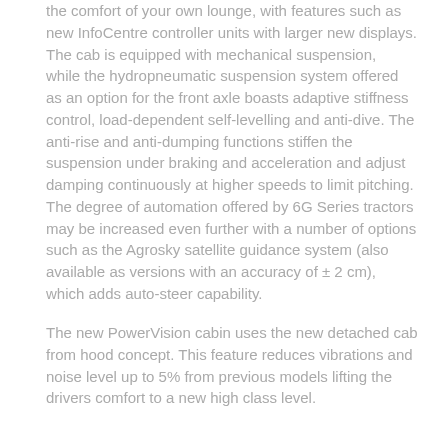the comfort of your own lounge, with features such as new InfoCentre controller units with larger new displays. The cab is equipped with mechanical suspension,  while the hydropneumatic suspension system offered as an option for the front axle boasts adaptive stiffness control, load-dependent self-levelling and anti-dive. The anti-rise and anti-dumping functions stiffen the suspension under braking and acceleration and adjust damping continuously at higher speeds to limit pitching. The degree of automation offered by 6G Series tractors may be increased even further with a number of options such as the Agrosky satellite guidance system (also available as versions with an accuracy of ± 2 cm), which adds auto-steer capability.
The new PowerVision cabin uses the new detached cab from hood concept. This feature reduces vibrations and noise level up to 5% from previous models lifting the drivers comfort to a new high class level.